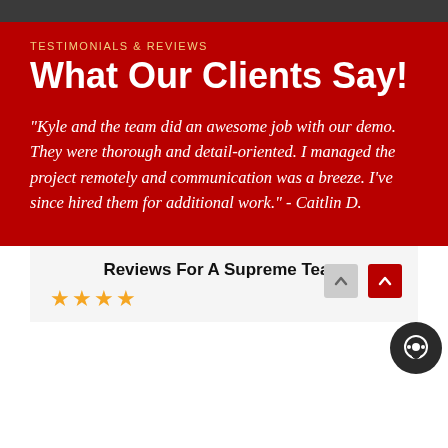TESTIMONIALS & REVIEWS
What Our Clients Say!
"Kyle and the team did an awesome job with our demo. They were thorough and detail-oriented. I managed the project remotely and communication was a breeze. I've since hired them for additional work." - Caitlin D.
Reviews For A Supreme Team